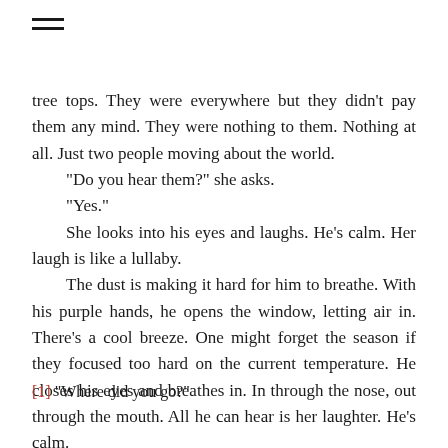≡
tree tops. They were everywhere but they didn't pay them any mind. They were nothing to them. Nothing at all. Just two people moving about the world.
  "Do you hear them?" she asks.
  "Yes."
  She looks into his eyes and laughs. He's calm. Her laugh is like a lullaby.
  The dust is making it hard for him to breathe. With his purple hands, he opens the window, letting air in. There's a cool breeze. One might forget the season if they focused too hard on the current temperature. He closes his eyes and breathes in. In through the nose, out through the mouth. All he can hear is her laughter. He's calm.
  "Dove sei andata?"[1]
[1] "Where did you go?"